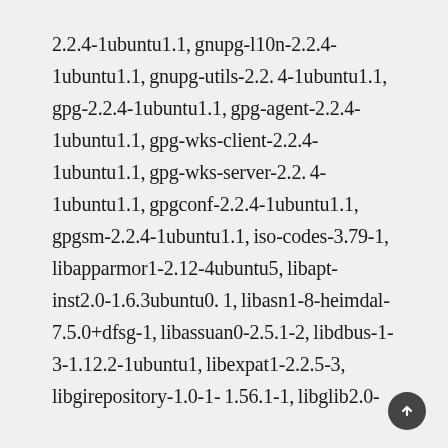2.2.4-1ubuntu1.1, gnupg-l10n-2.2.4-1ubuntu1.1, gnupg-utils-2.2.4-1ubuntu1.1, gpg-2.2.4-1ubuntu1.1, gpg-agent-2.2.4-1ubuntu1.1, gpg-wks-client-2.2.4-1ubuntu1.1, gpg-wks-server-2.2.4-1ubuntu1.1, gpgconf-2.2.4-1ubuntu1.1, gpgsm-2.2.4-1ubuntu1.1, iso-codes-3.79-1, libapparmor1-2.12-4ubuntu5, libapt-inst2.0-1.6.3ubuntu0.1, libasn1-8-heimdal-7.5.0+dfsg-1, libassuan0-2.5.1-2, libdbus-1-3-1.12.2-1ubuntu1, libexpat1-2.2.5-3, libgirepository-1.0-1-1.56.1-1, libglib2.0-0-